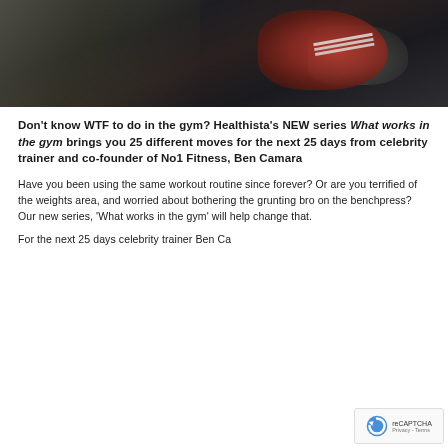[Figure (photo): Dark photo showing hands lacing up red and black athletic sneakers, close-up view on a dark background]
Don't know WTF to do in the gym? Healthista's NEW series What works in the gym brings you 25 different moves for the next 25 days from celebrity trainer and co-founder of No1 Fitness, Ben Camara
Have you been using the same workout routine since forever? Or are you terrified of the weights area, and worried about bothering the grunting bro on the benchpress? Our new series, 'What works in the gym' will help change that.
For the next 25 days celebrity trainer Ben Ca... will guide you through 25 different moves while